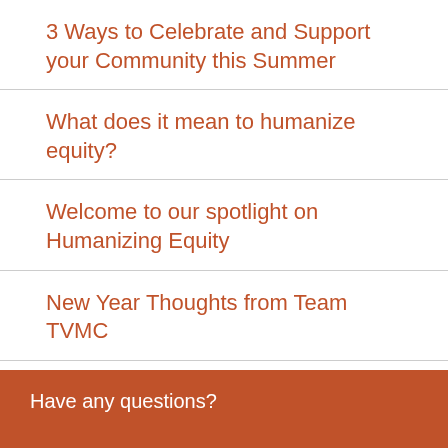3 Ways to Celebrate and Support your Community this Summer
What does it mean to humanize equity?
Welcome to our spotlight on Humanizing Equity
New Year Thoughts from Team TVMC
Have any questions?